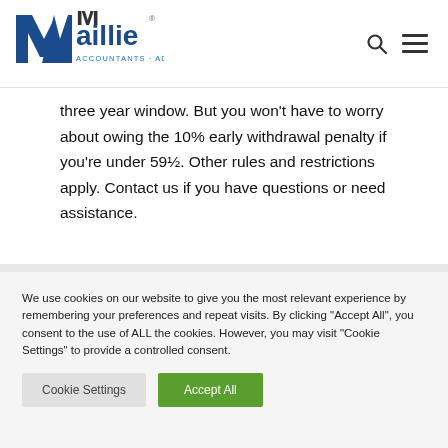[Figure (logo): Maillie Accountants and Advisors logo with blue stylized M and text]
three year window. But you won't have to worry about owing the 10% early withdrawal penalty if you're under 59½. Other rules and restrictions apply. Contact us if you have questions or need assistance.
We use cookies on our website to give you the most relevant experience by remembering your preferences and repeat visits. By clicking "Accept All", you consent to the use of ALL the cookies. However, you may visit "Cookie Settings" to provide a controlled consent.